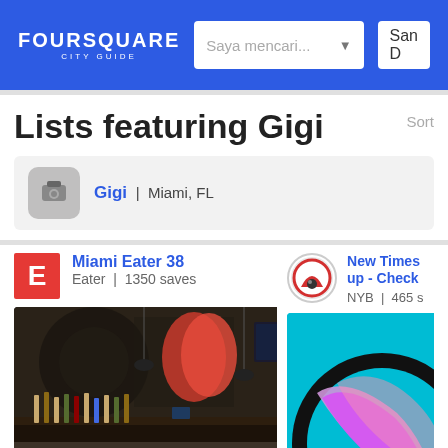FOURSQUARE CITY GUIDE | Saya mencari... | San D
Lists featuring Gigi
Sort
Gigi | Miami, FL
Miami Eater 38
Eater | 1350 saves
New Times up - Check
NYB | 465 s
[Figure (photo): Interior photo of a bar/restaurant with decorative walls, pendant lights, and bar seating]
[Figure (illustration): Colorful cartoon-style illustration with teal background and pink/purple design]
37 places including Bourbon Steak by Michael